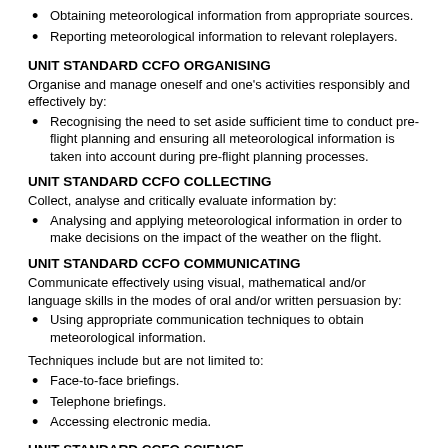Obtaining meteorological information from appropriate sources.
Reporting meteorological information to relevant roleplayers.
UNIT STANDARD CCFO ORGANISING
Organise and manage oneself and one's activities responsibly and effectively by:
Recognising the need to set aside sufficient time to conduct pre-flight planning and ensuring all meteorological information is taken into account during pre-flight planning processes.
UNIT STANDARD CCFO COLLECTING
Collect, analyse and critically evaluate information by:
Analysing and applying meteorological information in order to make decisions on the impact of the weather on the flight.
UNIT STANDARD CCFO COMMUNICATING
Communicate effectively using visual, mathematical and/or language skills in the modes of oral and/or written persuasion by:
Using appropriate communication techniques to obtain meteorological information.
Techniques include but are not limited to:
Face-to-face briefings.
Telephone briefings.
Accessing electronic media.
UNIT STANDARD CCFO SCIENCE
Use science and technology effectively and critically, showing responsibility to the environment and health of the others.